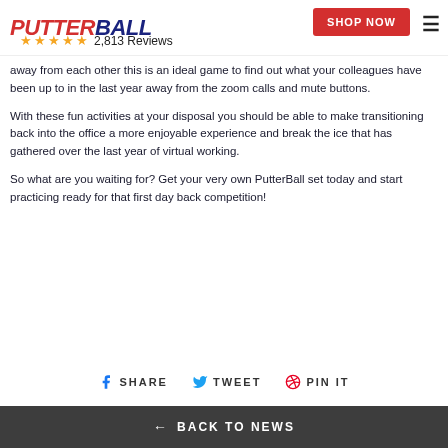PUTTERBALL — ★★★★★ 2,813 Reviews — SHOP NOW
away from each other this is an ideal game to find out what your colleagues have been up to in the last year away from the zoom calls and mute buttons.
With these fun activities at your disposal you should be able to make transitioning back into the office a more enjoyable experience and break the ice that has gathered over the last year of virtual working.
So what are you waiting for? Get your very own PutterBall set today and start practicing ready for that first day back competition!
SHARE   TWEET   PIN IT
← BACK TO NEWS